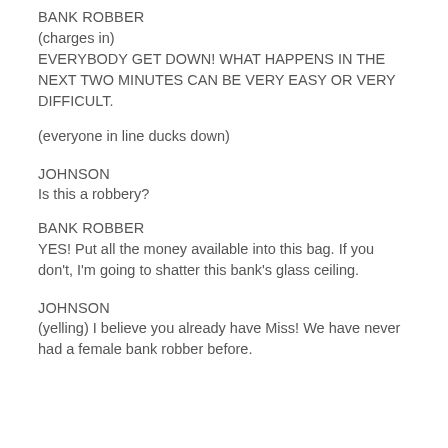BANK ROBBER
(charges in)
EVERYBODY GET DOWN! WHAT HAPPENS IN THE NEXT TWO MINUTES CAN BE VERY EASY OR VERY DIFFICULT.
(everyone in line ducks down)
JOHNSON
Is this a robbery?
BANK ROBBER
YES! Put all the money available into this bag. If you don't, I'm going to shatter this bank's glass ceiling.
JOHNSON
(yelling) I believe you already have Miss! We have never had a female bank robber before.